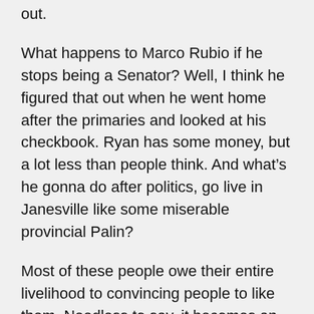out.
What happens to Marco Rubio if he stops being a Senator? Well, I think he figured that out when he went home after the primaries and looked at his checkbook. Ryan has some money, but a lot less than people think. And what’s he gonna do after politics, go live in Janesville like some miserable provincial Palin?
Most of these people owe their entire livelihood to convincing people to like them. Needless to say, it becomes an obsession. I have met a handful of politicians in thirty years who can perceive anything on any level that extends beyond their latest poll